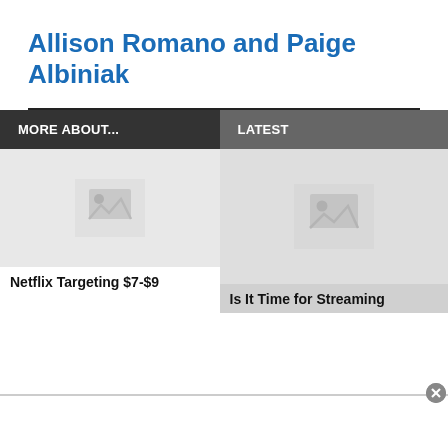Allison Romano and Paige Albiniak
MORE ABOUT...
LATEST
[Figure (photo): Placeholder image thumbnail for Netflix article]
Netflix Targeting $7-$9
[Figure (photo): Placeholder image thumbnail for Streaming article]
Is It Time for Streaming